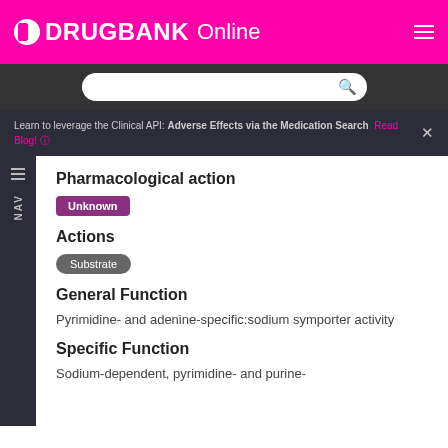DRUGBANK Online
Pharmacological action
Unknown
Actions
Substrate
General Function
Pyrimidine- and adenine-specific:sodium symporter activity
Specific Function
Sodium-dependent, pyrimidine- and purine- adenosine transport in the...